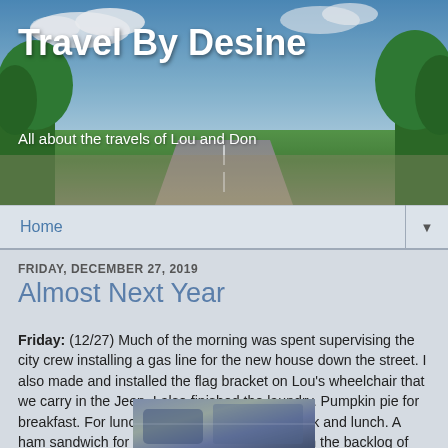[Figure (photo): Travel blog header banner with road scene — sky, trees on sides, road in center perspective]
Travel By Desine
All about the travels of Lou and Don
Home ▼
FRIDAY, DECEMBER 27, 2019
Almost Next Year
Friday: (12/27) Much of the morning was spent supervising the city crew installing a gas line for the new house down the street. I also made and installed the flag bracket on Lou's wheelchair that we carry in the Jeep. I also finished the laundry. Pumpkin pie for breakfast. For lunch, we went to IKEA for a walk and lunch. A ham sandwich for dinner. I restarted working on the backlog of photos for the blog.
[Figure (photo): Photo of interior scene, partially visible at bottom of page]